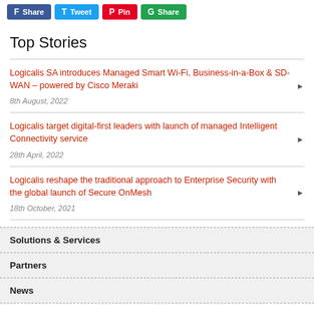Share | Tweet | Pin | Share
Top Stories
Logicalis SA introduces Managed Smart Wi-Fi, Business-in-a-Box & SD-WAN – powered by Cisco Meraki
8th August, 2022
Logicalis target digital-first leaders with launch of managed Intelligent Connectivity service
28th April, 2022
Logicalis reshape the traditional approach to Enterprise Security with the global launch of Secure OnMesh
18th October, 2021
Solutions & Services
Partners
News